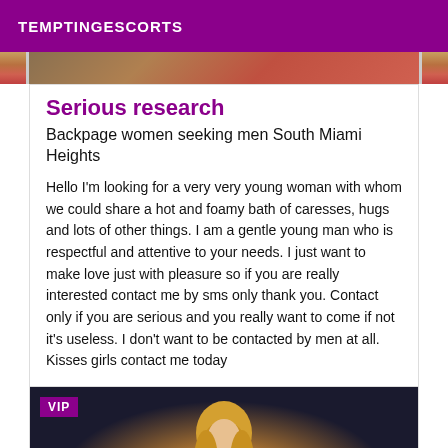TEMPTINGESCORTS
[Figure (photo): Partial photo visible at top of content card]
Serious research
Backpage women seeking men South Miami Heights
Hello I'm looking for a very very young woman with whom we could share a hot and foamy bath of caresses, hugs and lots of other things. I am a gentle young man who is respectful and attentive to your needs. I just want to make love just with pleasure so if you are really interested contact me by sms only thank you. Contact only if you are serious and you really want to come if not it's useless. I don't want to be contacted by men at all. Kisses girls contact me today
[Figure (photo): Photo of blonde woman with VIP badge overlay, dark background with textured curtain-like pattern]